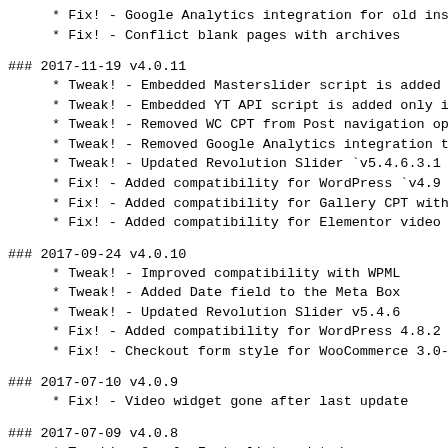* Fix! - Google Analytics integration for old ins
* Fix! - Conflict blank pages with archives
### 2017-11-19 v4.0.11
* Tweak! - Embedded Masterslider script is added
* Tweak! - Embedded YT API script is added only i
* Tweak! - Removed WC CPT from Post navigation op
* Tweak! - Removed Google Analytics integration t
* Tweak! - Updated Revolution Slider `v5.4.6.3.1
* Fix! - Added compatibility for WordPress `v4.9
* Fix! - Added compatibility for Gallery CPT with
* Fix! - Added compatibility for Elementor video
### 2017-09-24 v4.0.10
* Tweak! - Improved compatibility with WPML
* Tweak! - Added Date field to the Meta Box
* Tweak! - Updated Revolution Slider v5.4.6
* Fix! - Added compatibility for WordPress 4.8.2
* Fix! - Checkout form style for WooCommerce 3.0-
### 2017-07-10 v4.0.9
* Fix! - Video widget gone after last update
### 2017-07-09 v4.0.8
* Tweak! - Google Fonts list updated
* Fix! - Improved compatibility menu for WPML
* Fix! - Captions doesn't show in Galleries
* Fix! - Comparability with video lightbox by Ele
### 2017-06-29 v4.0.7